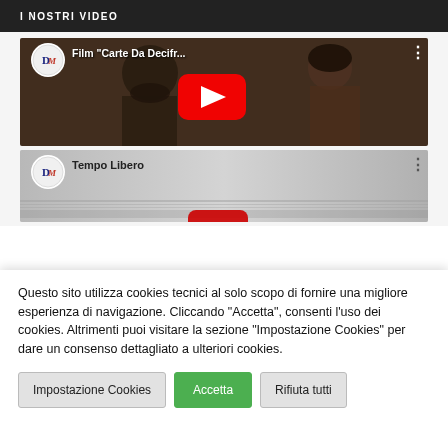I NOSTRI VIDEO
[Figure (screenshot): YouTube video thumbnail for 'Film "Carte Da Decifr..."' with DM channel logo, play button, and three-dot menu]
[Figure (screenshot): YouTube video thumbnail for 'Tempo Libero' with DM channel logo, partially visible play button, and three-dot menu]
Questo sito utilizza cookies tecnici al solo scopo di fornire una migliore esperienza di navigazione. Cliccando “Accetta”, consenti l’uso dei cookies. Altrimenti puoi visitare la sezione “Impostazione Cookies” per dare un consenso dettagliato a ulteriori cookies.
Impostazione Cookies
Accetta
Rifiuta tutti